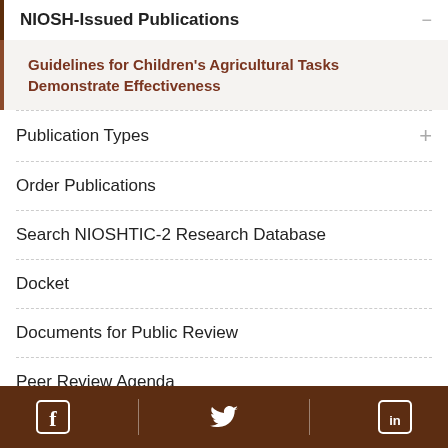NIOSH-Issued Publications
Guidelines for Children's Agricultural Tasks Demonstrate Effectiveness
Publication Types
Order Publications
Search NIOSHTIC-2 Research Database
Docket
Documents for Public Review
Peer Review Agenda
Facebook | Twitter | LinkedIn